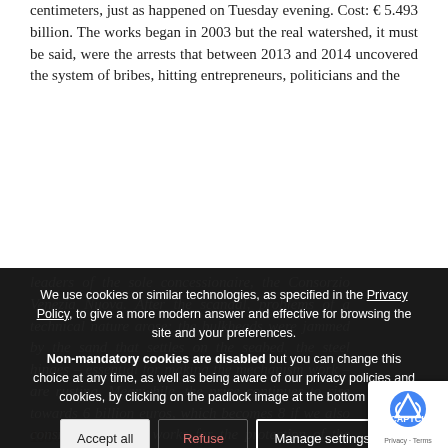centimeters, just as happened on Tuesday evening. Cost: € 5.493 billion. The works began in 2003 but the real watershed, it must be said, were the arrests that between 2013 and 2014 uncovered the system of bribes, hitting entrepreneurs, politicians and the leaders of the sole concessionaire, the Consorzio Venezia Nuova. After the scandal, problems of a technical nature arose: the bulkheads were jammed by the sand that settles on the seabed, the steel hinges – essential for making the mechanism work – are rusting. Meanwhile, the price continues to rise towards 6 billion euros, which becomes 8 if we also consider the other works for the protection of the lagoon from the tides.
We use cookies or similar technologies, as specified in the Privacy Policy, to give a more modern answer and effective for browsing the site and your preferences.
Non-mandatory cookies are disabled but you can change this choice at any time, as well as being aware of our privacy policies and cookies, by clicking on the padlock image at the bottom left.
Accept all   Refuse   Manage settings
From here is the che of Mose.
1999